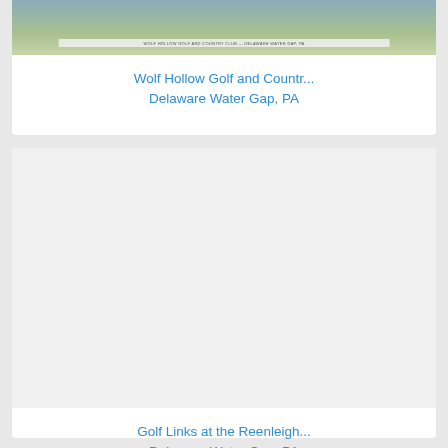[Figure (photo): Partial aerial or landscape view of Wolf Hollow Golf and Country Club area near Delaware Water Gap, PA]
Wolf Hollow Golf and Countr...
Delaware Water Gap, PA
[Figure (photo): Image area for Golf Links at the Reenleigh, Delaware Water Gap, PA (content not visible)]
Golf Links at the Reenleigh...
Delaware Water Gap, PA
Sold